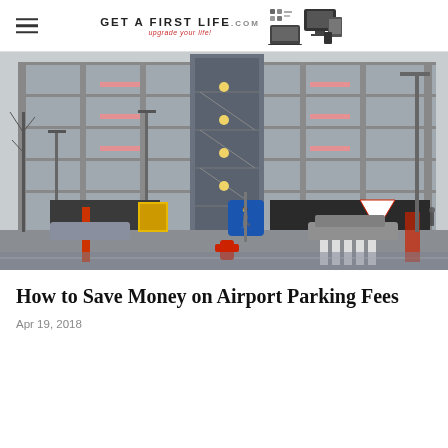Get A First Life — upgrade your life!
[Figure (photo): Multi-story airport parking structure with cars, road signs including a pedestrian crossing sign and a yield sign, a red fire hydrant in the foreground, and a wet surface suggesting overcast weather.]
How to Save Money on Airport Parking Fees
Apr 19, 2018